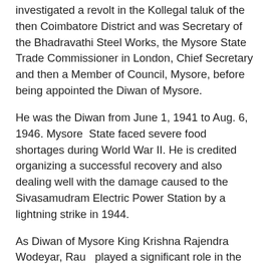investigated a revolt in the Kollegal taluk of the then Coimbatore District and was Secretary of the Bhadravathi Steel Works, the Mysore State Trade Commissioner in London, Chief Secretary and then a Member of Council, Mysore, before being appointed the Diwan of Mysore.
He was the Diwan from June 1, 1941 to Aug. 6, 1946. Mysore State faced severe food shortages during World War II. He is credited organizing a successful recovery and also dealing well with the damage caused to the Sivasamudram Electric Power Station by a lightning strike in 1944.
As Diwan of Mysore King Krishna Rajendra Wodeyar, Rau played a significant role in the formation of Mysore Legislative Council combining the Mysore Representative Assembly with it. It was India's first step in setting up a democratic institution.
N. Madhava Rau after retiring as Diwan, was a member of the Constitution drafting committee headed by Dr. B.R. Ambedkar and of